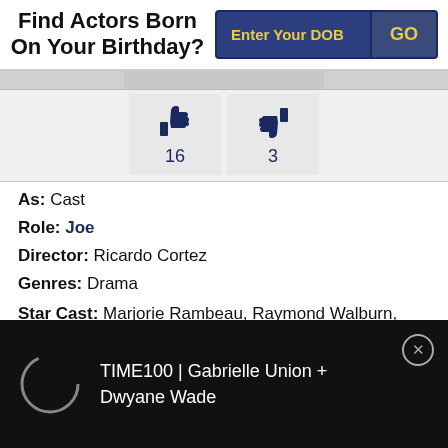Find Actors Born On Your Birthday?
Enter Your DOB  GO
[Figure (infographic): Thumbs up icon with count 16 and thumbs down icon with count 3]
As: Cast
Role: Joe
Director: Ricardo Cortez
Genres: Drama
Star Cast: Marjorie Rambeau, Raymond Walburn, Jean Rogers, Richard Conte
TIME100 | Gabrielle Union + Dwyane Wade